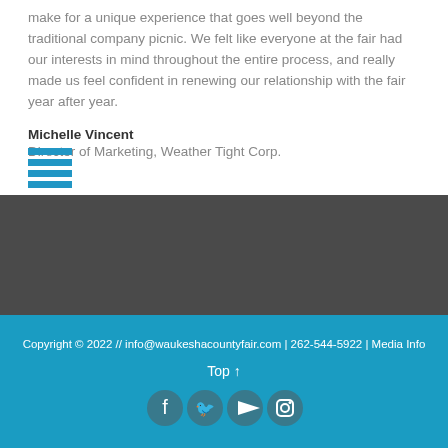make for a unique experience that goes well beyond the traditional company picnic. We felt like everyone at the fair had our interests in mind throughout the entire process, and really made us feel confident in renewing our relationship with the fair year after year.
Michelle Vincent
Director of Marketing, Weather Tight Corp.
Copyright © 2022 // info@waukeshacountyfair.com | 262-544-5922 | Media Info
Top ↑
[Figure (illustration): Social media icons: Facebook, Twitter, YouTube, Instagram]